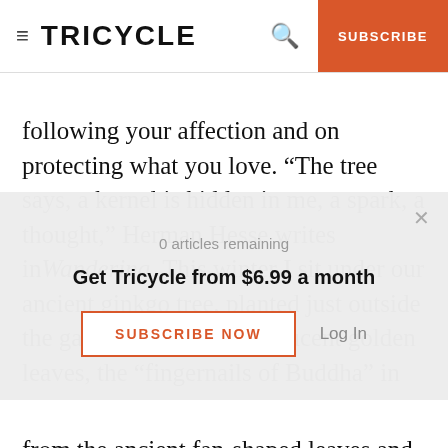TRICYCLE | SUBSCRIBE
following your affection and on protecting what you love. “The tree says, a kernel is hidden in me, a spark, a thought,” Herman Hesse writes in Wandering. This winter I sit under our ancient ginkgo tree, planted just outside the garden gate. The translucent golden leaves, the “fingernails of Buddha” in Asia, fell off months ago, revealing the hulking skeleton of this prehistoric tree. Ginkgo biloba, or the “maidenhair tree,” is more than 200
0 articles remaining
Get Tricycle from $6.99 a month
SUBSCRIBE NOW
Log In
from the ancient fan-shaped leaves and seed